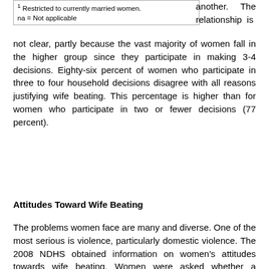1 Restricted to currently married women.
na = Not applicable
another. The relationship is not clear, partly because the vast majority of women fall in the higher group since they participate in making 3-4 decisions. Eighty-six percent of women who participate in three to four household decisions disagree with all reasons justifying wife beating. This percentage is higher than for women who participate in two or fewer decisions (77 percent).
Attitudes Toward Wife Beating
The problems women face are many and diverse. One of the most serious is violence, particularly domestic violence. The 2008 NDHS obtained information on women's attitudes towards wife beating. Women were asked whether a husband is justified in hitting or beating his wife under series of circumstances; it she burns the food, if she argues with him, if goes out without telling him, if she neglects the children, and if she refuses to have sexual intercourse with